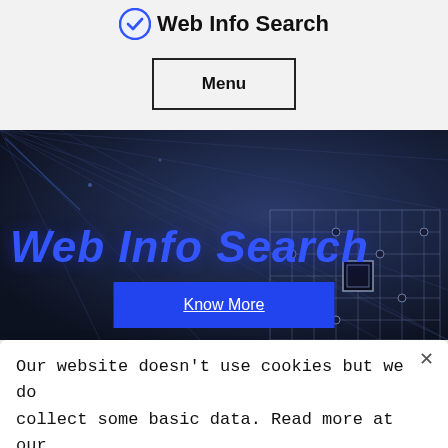Web Info Search
Menu
[Figure (screenshot): Dark tech/circuit board hero banner with blue glowing text 'Web Info Search' in italic and a 'Know More' button]
Our website doesn't use cookies but we do collect some basic data. Read more at our